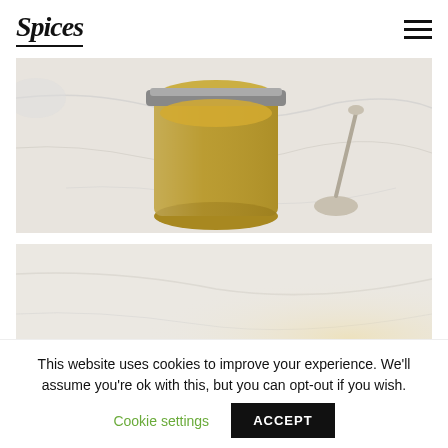Spices
[Figure (photo): A glass jar filled with golden/yellow liquid (possibly honey or mustard sauce) on a marble surface with a silver spoon resting nearby]
[Figure (photo): Lower portion of a food photo on a marble surface, light and minimalist]
This website uses cookies to improve your experience. We'll assume you're ok with this, but you can opt-out if you wish.
Cookie settings  ACCEPT